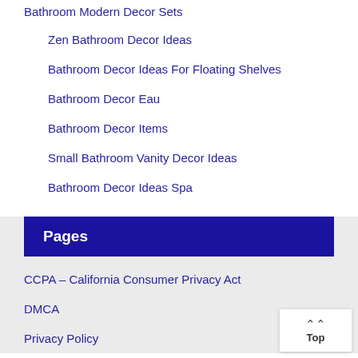Bathroom Modern Decor Sets
Zen Bathroom Decor Ideas
Bathroom Decor Ideas For Floating Shelves
Bathroom Decor Eau
Bathroom Decor Items
Small Bathroom Vanity Decor Ideas
Bathroom Decor Ideas Spa
Pages
CCPA – California Consumer Privacy Act
DMCA
Privacy Policy